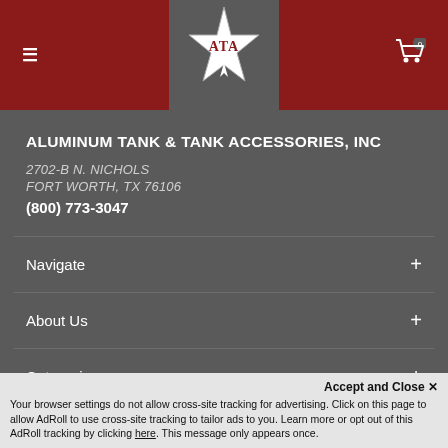Aluminum Tank & Tank Accessories, Inc – site header with logo, hamburger menu, and cart icon
ALUMINUM TANK & TANK ACCESSORIES, INC
2702-B N. NICHOLS
FORT WORTH, TX 76106
(800) 773-3047
Navigate +
About Us +
Categories +
Subscribe to our newsletter
Accept and Close ✕
Your browser settings do not allow cross-site tracking for advertising. Click on this page to allow AdRoll to use cross-site tracking to tailor ads to you. Learn more or opt out of this AdRoll tracking by clicking here. This message only appears once.